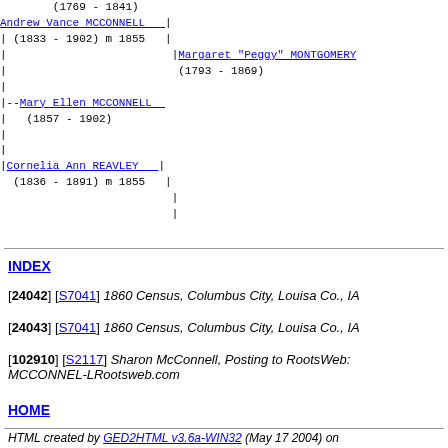[Figure (other): Genealogy tree diagram showing family connections: Andrew Vance MCCONNELL (1833-1902) m 1855, Mary Ellen MCCONNELL (1857-1902), Cornelia Ann REAVLEY (1836-1891) m 1855, with ancestors (1769-1841), Margaret 'Peggy' MONTGOMERY (1793-1869) shown in ASCII/monospace tree format with pipe and dash connectors and hyperlinks]
INDEX
[24042] [S7041] 1860 Census, Columbus City, Louisa Co., IA
[24043] [S7041] 1860 Census, Columbus City, Louisa Co., IA
[102910] [S2117] Sharon McConnell, Posting to RootsWeb: MCCONNEL-LRootsweb.com
HOME
HTML created by GED2HTML v3.6a-WIN32 (May 17 2004) on